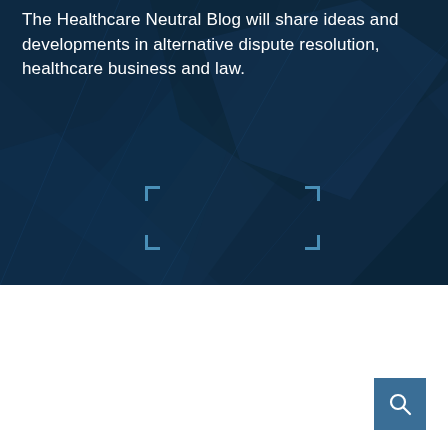The Healthcare Neutral Blog will share ideas and developments in alternative dispute resolution, healthcare business and law.
[Figure (illustration): Dark navy blue geometric polygon background with angular facets in varying shades of dark blue, overlaid with a Subscribe button with corner bracket decorations]